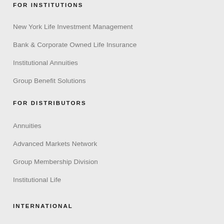FOR INSTITUTIONS
New York Life Investment Management
Bank & Corporate Owned Life Insurance
Institutional Annuities
Group Benefit Solutions
FOR DISTRIBUTORS
Annuities
Advanced Markets Network
Group Membership Division
Institutional Life
INTERNATIONAL